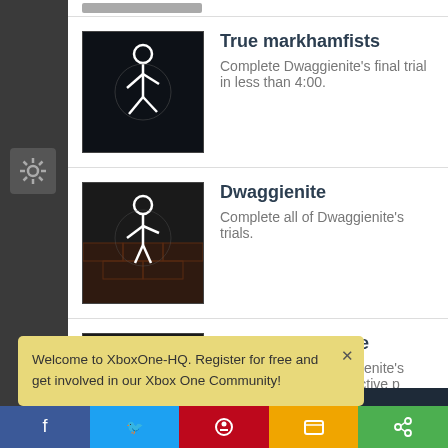True markhamfists
Complete Dwaggienite's final trial in less than 4:00.
Dwaggienite
Complete all of Dwaggienite's trials.
True Dwaggienite
Complete all of Dwaggienite's trials under their respective p
Welcome to XboxOne-HQ. Register for free and get involved in our Xbox One Community!
[Figure (other): Facebook share button (blue)]
[Figure (other): Twitter share button (light blue)]
[Figure (other): Pinterest share button (red)]
[Figure (other): Message/SMS share button (yellow/orange)]
[Figure (other): Generic share button (green)]